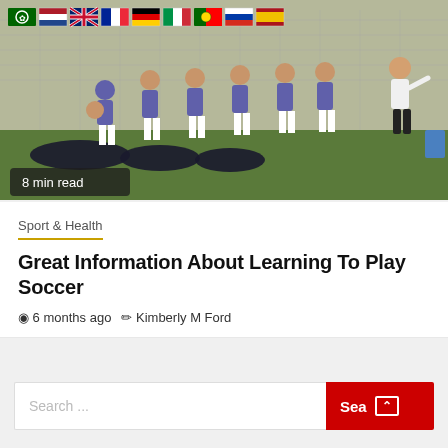[Figure (photo): Youth soccer players in purple uniforms gathered on a green field with a coach, bags on the ground, chain-link fence in background. Flag icons (Arabic, Dutch, UK, French, German, Italian, Portuguese, Russian, Spanish) visible at top left. '8 min read' badge at bottom left.]
Sport & Health
Great Information About Learning To Play Soccer
6 months ago   Kimberly M Ford
Search ...